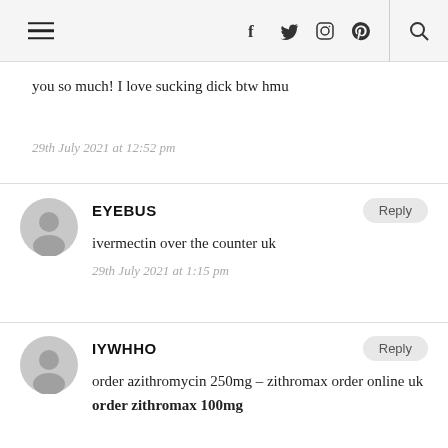Navigation bar with hamburger menu, social icons (f, twitter, instagram, pinterest), and search icon
you so much! I love sucking dick btw hmu
29th July 2021 at 12:52 pm
EYEBUS
ivermectin over the counter uk
29th July 2021 at 1:15 pm
IYWHHO
order azithromycin 250mg – zithromax order online uk order zithromax 100mg